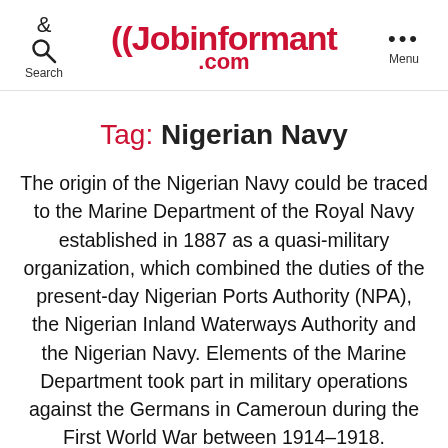Search | Jobinformant.com | Menu
Tag: Nigerian Navy
The origin of the Nigerian Navy could be traced to the Marine Department of the Royal Navy established in 1887 as a quasi-military organization, which combined the duties of the present-day Nigerian Ports Authority (NPA), the Nigerian Inland Waterways Authority and the Nigerian Navy. Elements of the Marine Department took part in military operations against the Germans in Cameroun during the First World War between 1914–1918. However, the